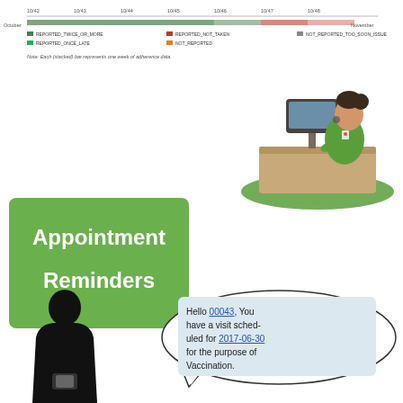[Figure (continuous-plot): Partial view of a timeline/Gantt-style chart showing adherence data with legend items: REPORTED_TWICE_OR_MORE, REPORTED_ONCE_LATE, REPORTED_NOT_TAKEN, NOT_REPORTED, NOT_REPORTED_TOO_SOON_ISSUE. X-axis spans October to November. Note: Each (stacked) bar represents one week of adherence data.]
[Figure (illustration): Illustration of a female healthcare worker in green scrubs sitting at a desk with a computer monitor.]
[Figure (illustration): Green rounded rectangle button labeled 'Appointment Reminders' in white text.]
[Figure (illustration): Black silhouette of a person looking at a mobile phone, with a speech bubble containing a text message: 'Hello 00043, You have a visit scheduled for 2017-06-30 for the purpose of Vaccination.']